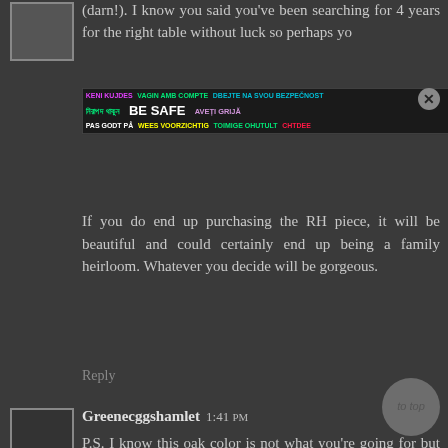(darn!). I know you said you've been searching for 4 years for the right table without luck so perhaps yo
[Figure (infographic): Safety advertisement banner with multilingual 'BE SAFE' text in various colors]
If you do end up purchasing the RH piece, it will be beautiful and could certainly end up being a family heirloom. Whatever you decide will be gorgeous.
Reply
Greenecggshamlet 1:41 PM
P.S. I know this oak color is not what you're going for but the price is so much less than than RH, I thought it might be worth the cost to refinish it. It's a trestle style and can be 60", 78", or 96" long depending on if you include none, one, or both leaves, which are included. American Furniture Warehouse is a Colorado/Wyoming company but they do ship (another expense, I know, but I hope still less expensive than RH).